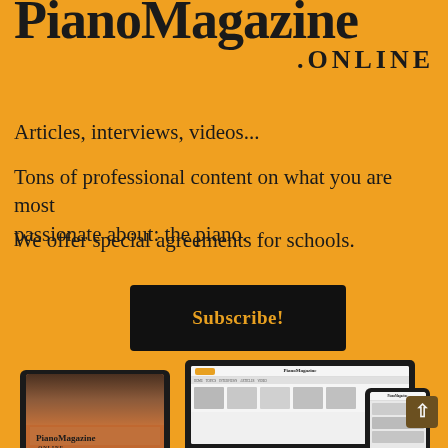PianoMagazine .ONLINE
Articles, interviews, videos...
Tons of professional content on what you are most passionate about: the piano.
We offer special agreements for schools.
Subscribe!
[Figure (screenshot): Tablet device showing PianoMagazine cover, laptop showing PianoMagazine website, and smartphone showing PianoMagazine app]